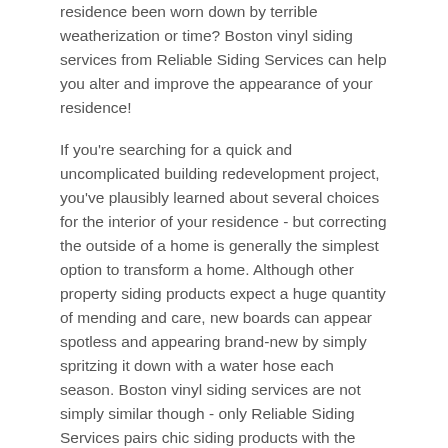residence been worn down by terrible weatherization or time? Boston vinyl siding services from Reliable Siding Services can help you alter and improve the appearance of your residence!
If you're searching for a quick and uncomplicated building redevelopment project, you've plausibly learned about several choices for the interior of your residence - but correcting the outside of a home is generally the simplest option to transform a home. Although other property siding products expect a huge quantity of mending and care, new boards can appear spotless and appearing brand-new by simply spritzing it down with a water hose each season. Boston vinyl siding services are not simply similar though - only Reliable Siding Services pairs chic siding products with the cheapest assistance so you are sure you're obtaining the cheapest service in Boston!